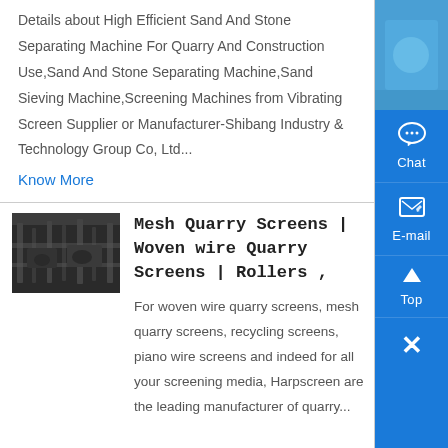Details about High Efficient Sand And Stone Separating Machine For Quarry And Construction Use,Sand And Stone Separating Machine,Sand Sieving Machine,Screening Machines from Vibrating Screen Supplier or Manufacturer-Shibang Industry & Technology Group Co, Ltd...
Know More
[Figure (photo): Thumbnail photo of a quarry screening machine installation, dark industrial setting]
Mesh Quarry Screens | Woven wire Quarry Screens | Rollers ,
For woven wire quarry screens, mesh quarry screens, recycling screens, piano wire screens and indeed for all your screening media, Harpscreen are the leading manufacturer of quarry...